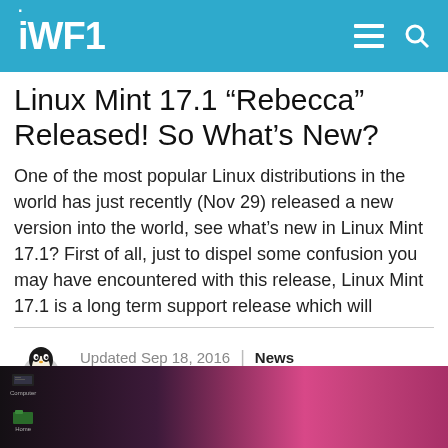iWF1
Linux Mint 17.1 “Rebecca” Released! So What’s New?
One of the most popular Linux distributions in the world has just recently (Nov 29) released a new version into the world, see what’s new in Linux Mint 17.1? First of all, just to dispel some confusion you may have encountered with this release, Linux Mint 17.1 is a long term support release which will
Updated Sep 18, 2016 | News
Written by Liron
[Figure (screenshot): Screenshot of Linux Mint 17.1 desktop with dark purple/pink gradient wallpaper and desktop icons on the left side]